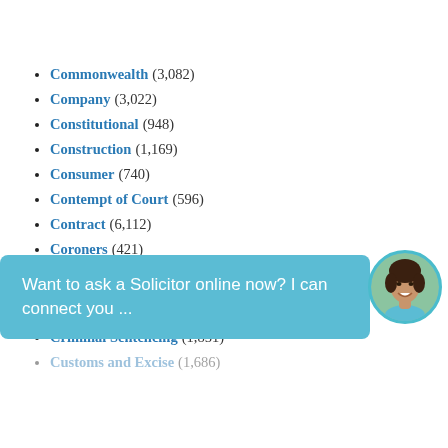Commonwealth (3,082)
Company (3,022)
Constitutional (948)
Construction (1,169)
Consumer (740)
Contempt of Court (596)
Contract (6,112)
Coroners (421)
Corporation Tax (680)
Costs (3,529)
[Figure (screenshot): Chat widget overlay with text 'Want to ask a Solicitor online now? I can connect you ...' and a circular avatar photo of a woman]
Criminal Sentencing (1,851)
Customs and Excise (1,686)